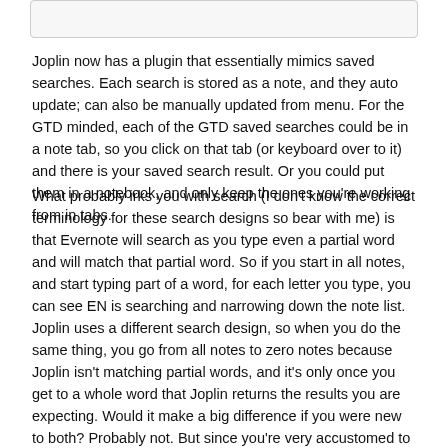Joplin now has a plugin that essentially mimics saved searches. Each search is stored as a note, and they auto update; can also be manually updated from menu. For the GTD minded, each of the GTD saved searches could be in a note tab, so you click on that tab (or keyboard over to it) and there is your saved search result. Or you could put them in a notebook, and only keep the ones you're working from in tabs.
What probably irks you with search (I don't know the correct terminology for these search designs so bear with me) is that Evernote will search as you type even a partial word and will match that partial word. So if you start in all notes, and start typing part of a word, for each letter you type, you can see EN is searching and narrowing down the note list. Joplin uses a different search design, so when you do the same thing, you go from all notes to zero notes because Joplin isn't matching partial words, and it's only once you get to a whole word that Joplin returns the results you are expecting. Would it make a big difference if you were new to both? Probably not. But since you're very accustomed to EN's search design, Joplin's feels awkward. For me, it's a small adjustment process I'm willing to work through in return for features listed earlier, among others, that EN does not have.